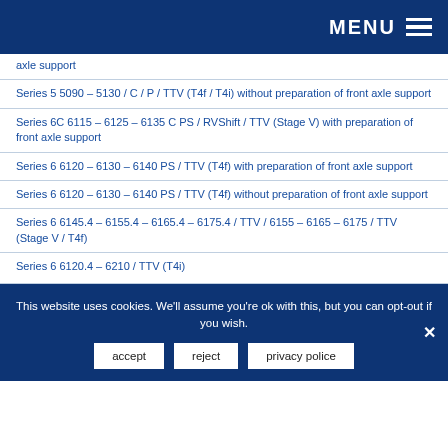MENU
axle support
Series 5 5090 – 5130 / C / P / TTV (T4f / T4i) without preparation of front axle support
Series 6C 6115 – 6125 – 6135 C PS / RVShift / TTV (Stage V) with preparation of front axle support
Series 6 6120 – 6130 – 6140 PS / TTV (T4f) with preparation of front axle support
Series 6 6120 – 6130 – 6140 PS / TTV (T4f) without preparation of front axle support
Series 6 6145.4 – 6155.4 – 6165.4 – 6175.4 / TTV / 6155 – 6165 – 6175 / TTV (Stage V / T4f)
Series 6 6120.4 – 6210 / TTV (T4i)
This website uses cookies. We'll assume you're ok with this, but you can opt-out if you wish.